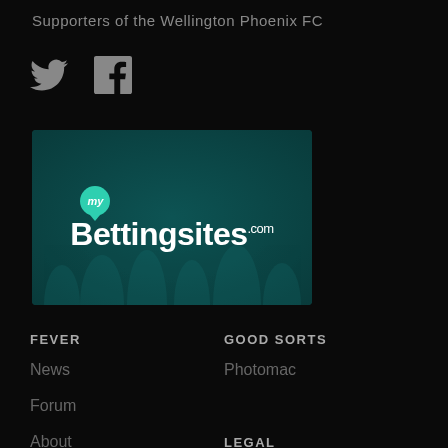Supporters of the Wellington Phoenix FC
[Figure (illustration): Twitter and Facebook social media icons in dark grey]
[Figure (logo): MyBettingsites.com logo on dark teal background with silhouetted crowd]
FEVER
GOOD SORTS
News
Photomac
Forum
About
LEGAL